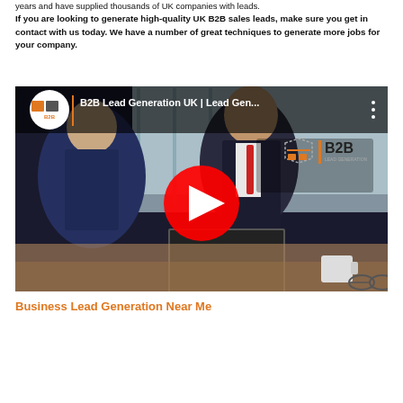years and have supplied thousands of UK companies with leads.
If you are looking to generate high-quality UK B2B sales leads, make sure you get in contact with us today. We have a number of great techniques to generate more jobs for your company.
[Figure (screenshot): YouTube video thumbnail showing two businessmen at a table with a laptop, one facing camera in suit, YouTube play button overlay, B2B Lead Generation UK logo in top left and top right corners, title reads 'B2B Lead Generation UK | Lead Gen...']
Business Lead Generation Near Me